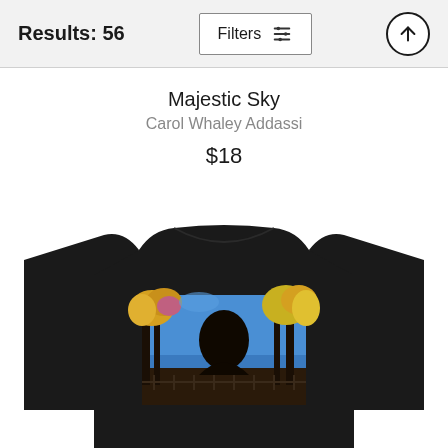Results: 56   Filters
Majestic Sky
Carol Whaley Addassi
$18
[Figure (photo): Black t-shirt with a colorful painting printed on the chest area, showing autumn trees with yellow foliage, a blue sky, dark tree trunks, and a fence, in a painterly impressionist style.]